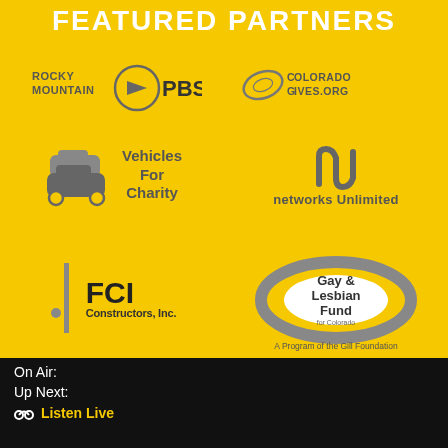FEATURED PARTNERS
[Figure (logo): Rocky Mountain PBS logo - grey circular PBS icon with text ROCKY MOUNTAIN PBS]
[Figure (logo): ColoradoGives.org logo - grey football/rugby ball shape with text ColoradoGives.org]
[Figure (logo): Vehicles For Charity logo - grey cars icon with text Vehicles For Charity]
[Figure (logo): Networks Unlimited logo - grey N icon with text networks Unlimited]
[Figure (logo): FCI Constructors Inc logo - grey vertical bar with dot and bold FCI text, Constructors Inc below]
[Figure (logo): Gay and Lesbian Fund for Colorado logo - grey oval ellipse with text Gay & Lesbian Fund, A Program of the Gill Foundation]
On Air:
Up Next:
🎧 Listen Live